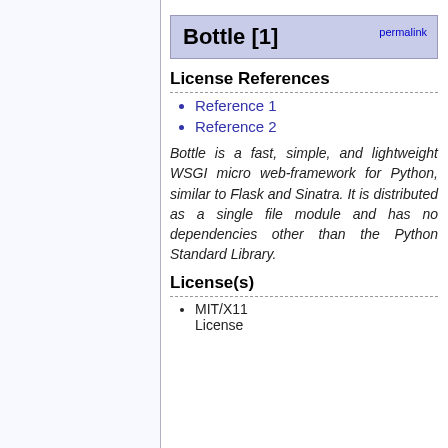Bottle [1]
License References
Reference 1
Reference 2
Bottle is a fast, simple, and lightweight WSGI micro web-framework for Python, similar to Flask and Sinatra. It is distributed as a single file module and has no dependencies other than the Python Standard Library.
License(s)
MIT/X11 License